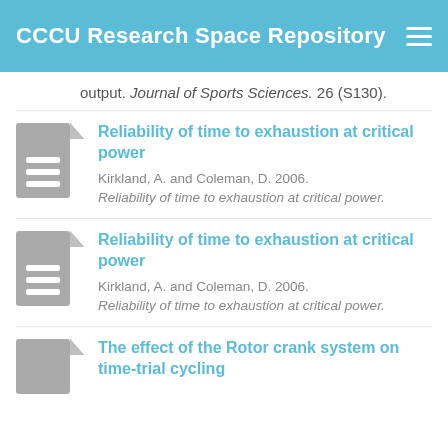CCCU Research Space Repository
output. Journal of Sports Sciences. 26 (S130).
Reliability of time to exhaustion at critical power
Kirkland, A. and Coleman, D. 2006. Reliability of time to exhaustion at critical power.
Reliability of time to exhaustion at critical power
Kirkland, A. and Coleman, D. 2006. Reliability of time to exhaustion at critical power.
The effect of the Rotor crank system on time-trial cycling